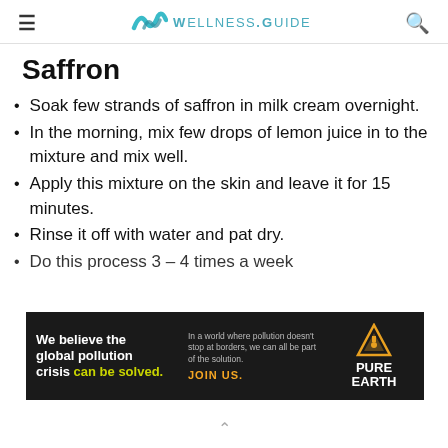WELLNESS.GUIDE
Saffron
Soak few strands of saffron in milk cream overnight.
In the morning, mix few drops of lemon juice in to the mixture and mix well.
Apply this mixture on the skin and leave it for 15 minutes.
Rinse it off with water and pat dry.
Do this process 3 – 4 times a week
[Figure (other): Advertisement banner for Pure Earth: 'We believe the global pollution crisis can be solved. In a world where pollution doesn't stop at borders, we can all be part of the solution. JOIN US.']